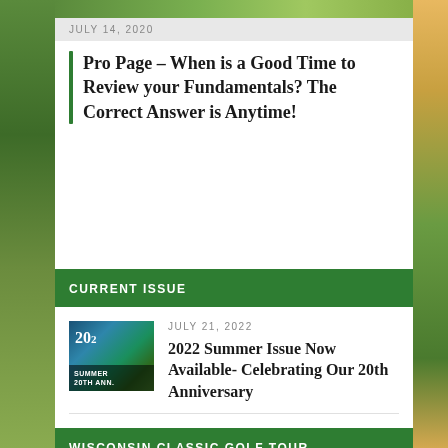[Figure (photo): Golf course landscape photo strip at top]
JULY 14, 2020
Pro Page – When is a Good Time to Review your Fundamentals? The Correct Answer is Anytime!
CURRENT ISSUE
[Figure (photo): Thumbnail image of 2022 Summer Issue magazine cover – 20th Anniversary]
JULY 21, 2022
2022 Summer Issue Now Available- Celebrating Our 20th Anniversary
WISCONSIN CLASSIC GOLF TOUR